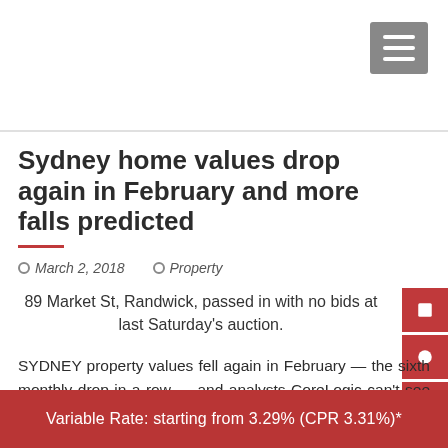Sydney home values drop again in February and more falls predicted
March 2, 2018   Property
89 Market St, Randwick, passed in with no bids at last Saturday's auction.
SYDNEY property values fell again in February — the sixth monthly drop in a row — and analysts CoreLogic can't see an end to the slow but steady slide.
Variable Rate: starting from 3.29% (CPR 3.31%)*